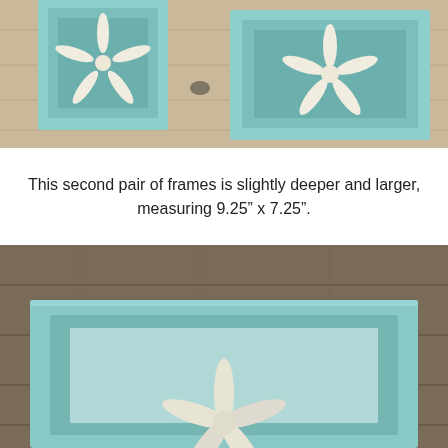[Figure (photo): Two light blue/mint painted square frames with starfish decorations mounted on a rustic whitewashed wooden plank wall. The frames have molded borders and each has a white starfish affixed to the front.]
This second pair of frames is slightly deeper and larger, measuring 9.25" x 7.25".
[Figure (photo): Close-up of a light blue/mint painted square frame with a white starfish partially visible, mounted on a rustic dark wooden plank wall. The frame shows molded beveled edges.]